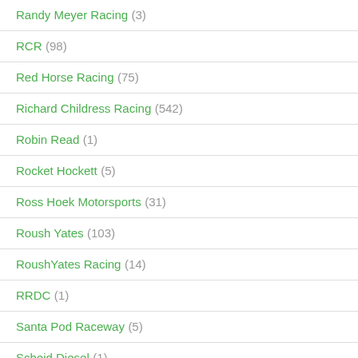Randy Meyer Racing (3)
RCR (98)
Red Horse Racing (75)
Richard Childress Racing (542)
Robin Read (1)
Rocket Hockett (5)
Ross Hoek Motorsports (31)
Roush Yates (103)
RoushYates Racing (14)
RRDC (1)
Santa Pod Raceway (5)
Scheid Diesel (1)